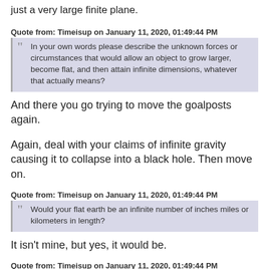just a very large finite plane.
Quote from: Timeisup on January 11, 2020, 01:49:44 PM
In your own words please describe the unknown forces or circumstances that would allow an object to grow larger, become flat, and then attain infinite dimensions, whatever that actually means?
And there you go trying to move the goalposts again.
Again, deal with your claims of infinite gravity causing it to collapse into a black hole. Then move on.
Quote from: Timeisup on January 11, 2020, 01:49:44 PM
Would your flat earth be an infinite number of inches miles or kilometers in length?
It isn't mine, but yes, it would be.
Quote from: Timeisup on January 11, 2020, 01:49:44 PM
Do you honestly think you have any idea of how one would behave either as a thought experiment or in some parallel universe that allows such things?
Do you?